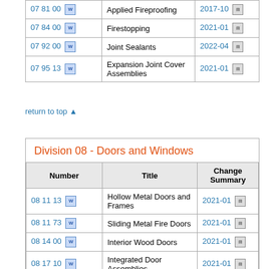| Number | Title | Change Summary |
| --- | --- | --- |
| 07 81 00 | Applied Fireproofing | 2017-10 |
| 07 84 00 | Firestopping | 2021-01 |
| 07 92 00 | Joint Sealants | 2022-04 |
| 07 95 13 | Expansion Joint Cover Assemblies | 2021-01 |
return to top ▲
| Number | Title | Change Summary |
| --- | --- | --- |
| 08 11 13 | Hollow Metal Doors and Frames | 2021-01 |
| 08 11 73 | Sliding Metal Fire Doors | 2021-01 |
| 08 14 00 | Interior Wood Doors | 2021-01 |
| 08 17 10 | Integrated Door Assemblies | 2021-01 |
| 08 31 13 | Access Doors and Frames | 2022-04 |
| 08 32 13 | ICU Aluminum Sliding Glass Doors | 2021-01 |